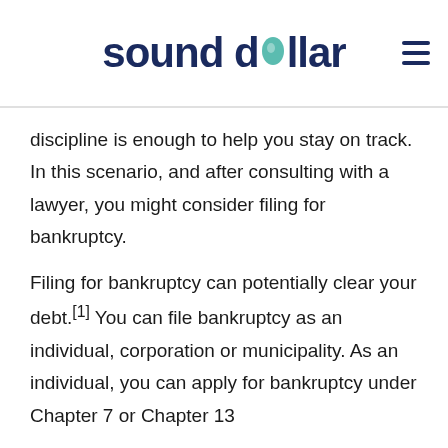sound dollar
discipline is enough to help you stay on track. In this scenario, and after consulting with a lawyer, you might consider filing for bankruptcy.
Filing for bankruptcy can potentially clear your debt.[1] You can file bankruptcy as an individual, corporation or municipality. As an individual, you can apply for bankruptcy under Chapter 7 or Chapter 13